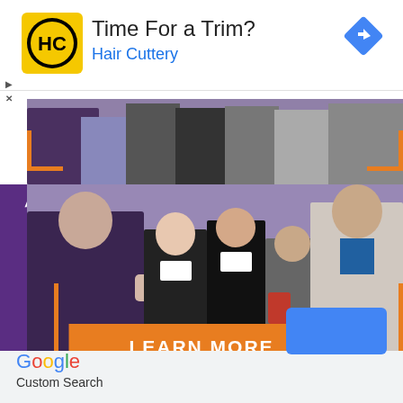[Figure (screenshot): Hair Cuttery advertisement banner with yellow HC logo, title 'Time For a Trim?' and subtitle 'Hair Cuttery' in blue, with a blue diamond navigation icon on the right]
[Figure (photo): High Point University advertisement banner showing people networking at an event, with an orange LEARN MORE button and 'HIGH POINT UNIVERSITY' text on purple background]
[Figure (screenshot): Blue rectangle UI element, likely a button, on light gray background]
Google
Custom Search